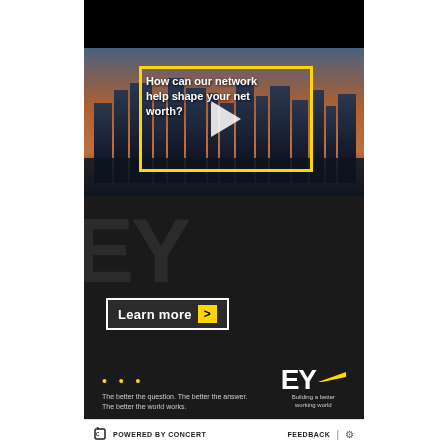[Figure (screenshot): EY advertisement. Top half shows a city skyline at dusk/sunset with a yellow rectangular border overlay and a white play button triangle in the center. Text overlay reads: 'How can our network help shape your net worth?'. Bottom half shows a dark blurred background with large dark letters. A 'Learn more >' button is visible. EY logo with yellow swoosh and tagline 'Building a better working world' appears bottom right. Three yellow dots and tagline 'The better the question. The better the answer. The better the world works.' appear bottom left.]
POWERED BY CONCERT   FEEDBACK | ⚙